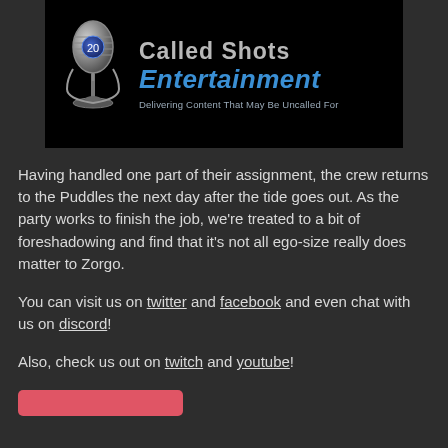[Figure (logo): Called Shots Entertainment banner with microphone logo on black background. Text reads 'Called Shots Entertainment - Delivering Content That May Be Uncalled For']
Having handled one part of their assignment, the crew returns to the Puddles the next day after the tide goes out. As the party works to finish the job, we're treated to a bit of foreshadowing and find that it's not all ego-size really does matter to Zorgo.
You can visit us on twitter and facebook and even chat with us on discord!
Also, check us out on twitch and youtube!